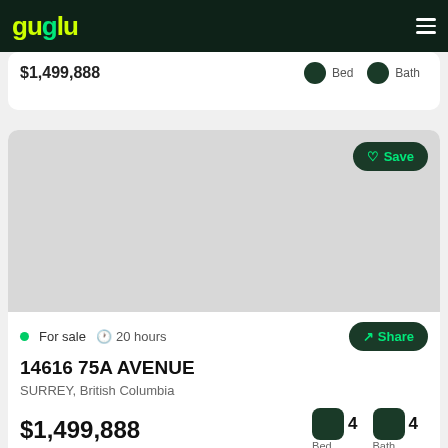guglu
$1,499,888  Bed  Bath
[Figure (photo): Exterior photo of property listing at 14616 75A Avenue, Surrey, BC — large residential home]
For sale  20 hours
14616 75A AVENUE
SURREY, British Columbia
$1,499,888  4 Bed  4 Bath